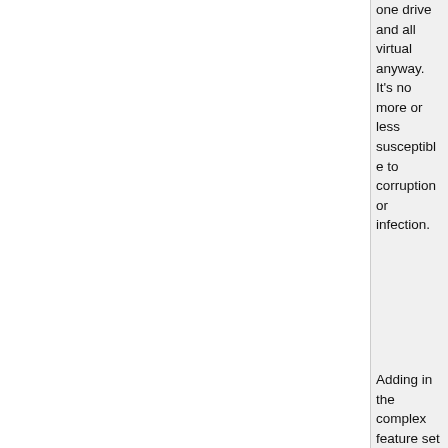one drive and all virtual anyway. It's no more or less susceptible to corruption or infection.
Adding in the complex feature set you are asking for is a lot of work at the launcher, installer, updater and platform level for near-zero benefit. Not to mention the fact that